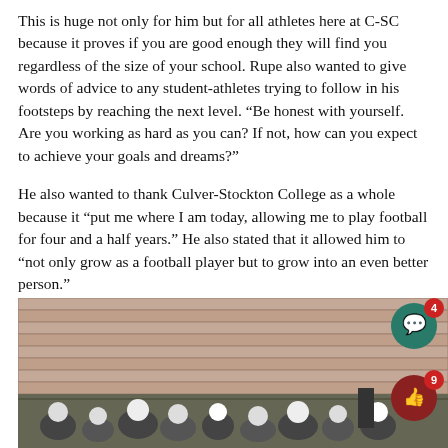This is huge not only for him but for all athletes here at C-SC because it proves if you are good enough they will find you regardless of the size of your school. Rupe also wanted to give words of advice to any student-athletes trying to follow in his footsteps by reaching the next level. “Be honest with yourself. Are you working as hard as you can? If not, how can you expect to achieve your goals and dreams?”
He also wanted to thank Culver-Stockton College as a whole because it “put me where I am today, allowing me to play football for four and a half years.” He also stated that it allowed him to “not only grow as a football player but to grow into an even better person.”
[Figure (photo): Football players on a field with bleachers/stadium seating visible in the background. Social media comment (4) and like (9) icons overlaid on the right side.]